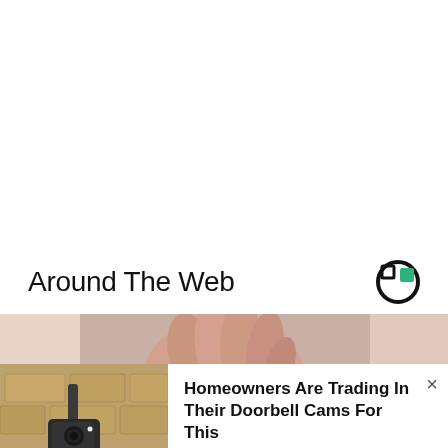Around The Web
[Figure (photo): A hand holding an object, close-up photo visible at top of content area]
[Figure (photo): An outdoor wall-mounted security camera on a stone/stucco wall]
Homeowners Are Trading In Their Doorbell Cams For This
Camerca | Sponsored